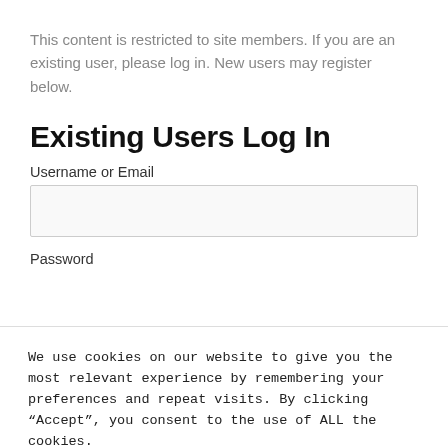This content is restricted to site members. If you are an existing user, please log in. New users may register below.
Existing Users Log In
Username or Email
Password
We use cookies on our website to give you the most relevant experience by remembering your preferences and repeat visits. By clicking “Accept”, you consent to the use of ALL the cookies.
Cookie settings
ACCEPT